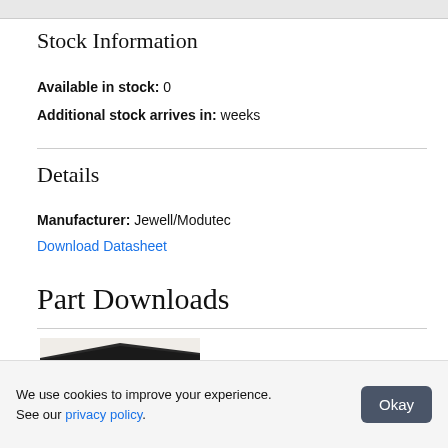Stock Information
Available in stock: 0
Additional stock arrives in: weeks
Details
Manufacturer: Jewell/Modutec
Download Datasheet
Part Downloads
[Figure (photo): Product image partially visible at bottom of page]
We use cookies to improve your experience. See our privacy policy.